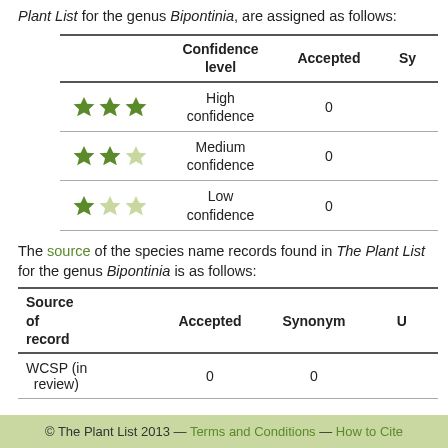Plant List for the genus Bipontinia, are assigned as follows:
|  | Confidence level | Accepted | Sy |
| --- | --- | --- | --- |
| ★★★ | High confidence | 0 |  |
| ★★☆ | Medium confidence | 0 |  |
| ★☆☆ | Low confidence | 0 |  |
The source of the species name records found in The Plant List for the genus Bipontinia is as follows:
| Source of record | Accepted | Synonym | U |
| --- | --- | --- | --- |
| WCSP (in review) | 0 | 0 |  |
© The Plant List 2013 — Terms and Conditions — How to Cite